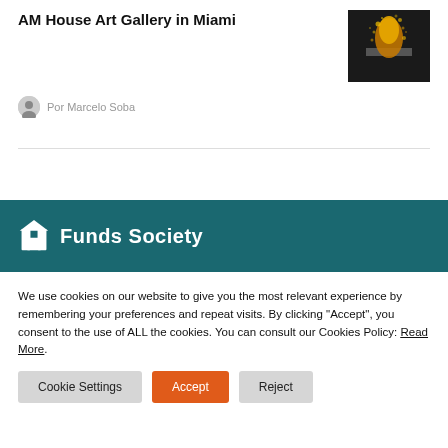AM House Art Gallery in Miami
[Figure (photo): Artwork with orange/gold glowing figure on dark background]
Por Marcelo Soba
[Figure (logo): Funds Society logo — white building icon with text 'Funds Society' on teal background]
We use cookies on our website to give you the most relevant experience by remembering your preferences and repeat visits. By clicking "Accept", you consent to the use of ALL the cookies. You can consult our Cookies Policy: Read More.
Cookie Settings | Accept | Reject